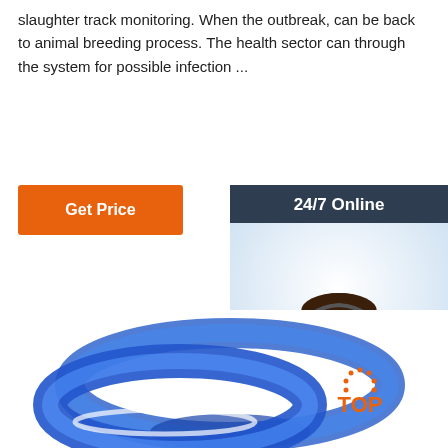slaughter track monitoring. When the outbreak, can be back to animal breeding process. The health sector can through the system for possible infection ...
[Figure (other): Orange 'Get Price' button]
[Figure (other): 24/7 Online chat widget with customer service representative photo, 'Click here for free chat!' text, and orange QUOTATION button]
[Figure (photo): Two blue silicone wristbands/bracelets on white background with TOP logo watermark in bottom right corner]